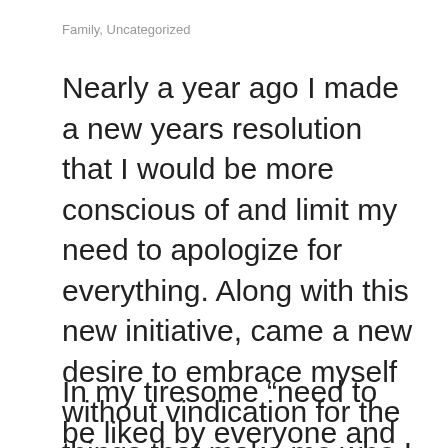Family, Uncategorized
Nearly a year ago I made a new years resolution that I would be more conscious of and limit my need to apologize for everything. Along with this new initiative, came a new desire to embrace myself without vindication for the things that make me who I am.
In my tiresome “need to be liked by everyone and not to make waves where there needn’t be any,” I admit